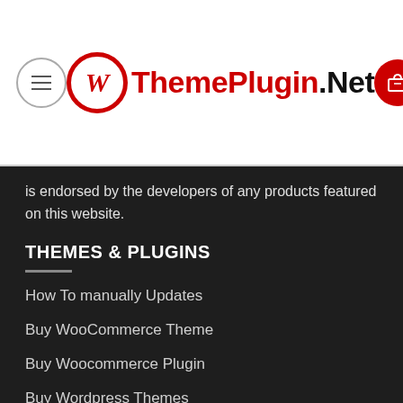ThemePlugin.Net
is endorsed by the developers of any products featured on this website.
THEMES & PLUGINS
How To manually Updates
Buy WooCommerce Theme
Buy Woocommerce Plugin
Buy Wordpress Themes
Buy Wordpress Plugins